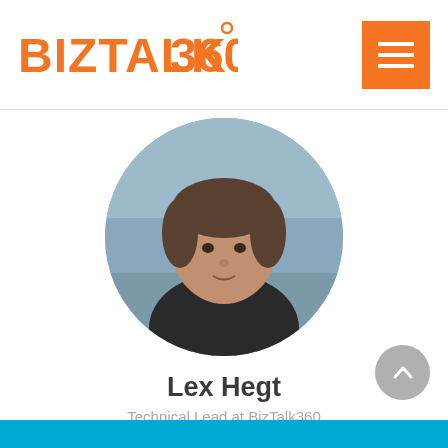[Figure (logo): BizTalk360 logo in orange text with circular degree symbol]
[Figure (photo): Circular profile photo of Lex Hegt, a man in a dark polo shirt against an outdoor sky background]
Lex Hegt
Technical Lead at BizTalk360
[Figure (illustration): Twitter and LinkedIn social media icons in gray]